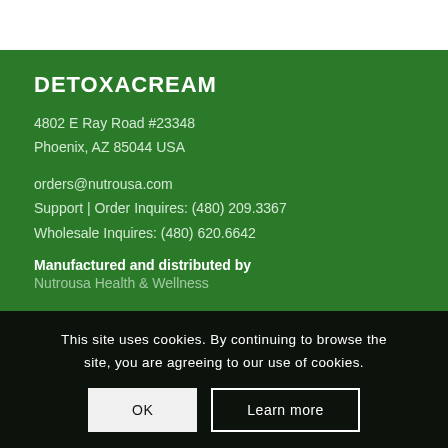DETOXACREAM
4802 E Ray Road #23348
Phoenix, AZ 85044 USA
orders@nutrousa.com
Support | Order Inquires: (480) 209.3367
Wholesale Inquires: (480) 620.6642
Manufactured and distributed by
Nutrousa Health & Wellness
This site uses cookies. By continuing to browse the site, you are agreeing to our use of cookies.